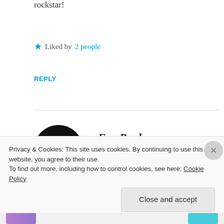rockstar!
★ Liked by 2 people
REPLY
[Figure (logo): Circular black avatar logo with 'Simply Notable' text in white/purple on black background]
FreeBryd
SEPTEMBER 16, 2015 AT 3:41 AM
I agree completely!! I feel close to many of the people I've met through WordPress.
Privacy & Cookies: This site uses cookies. By continuing to use this website, you agree to their use. To find out more, including how to control cookies, see here: Cookie Policy
Close and accept